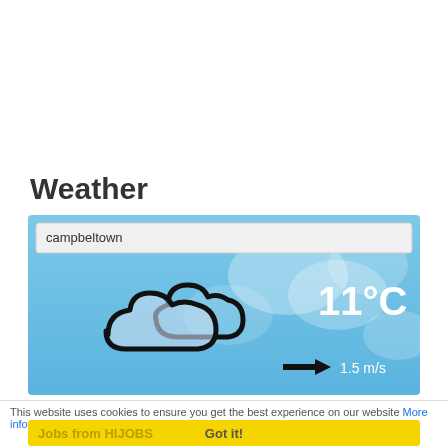Weather
[Figure (screenshot): Weather widget showing 'campbeltown' search input, cloudy weather icon, 11°C temperature, and 1.5 m/s wind speed on a blue sky background]
This website uses cookies to ensure you get the best experience on our website More info
Jobs from HIJOBS Got it!